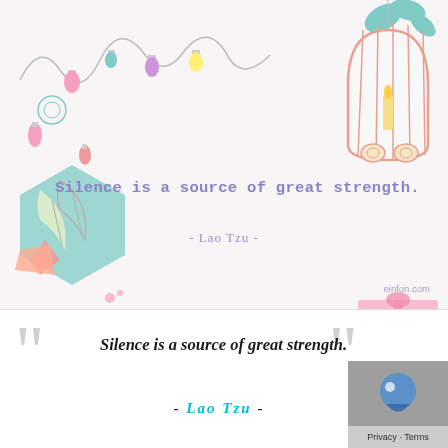[Figure (illustration): Decorative illustration with string lights, colorful bulbs (pink, teal, yellow, lavender) on curly wires in upper left; teal birdcage with candle and leaves in upper right; teal hexagon with feathers, orange/pink star shapes, leaves on left side; pink gift box with ribbons and teal ornaments on lower right. Two repeated quote cards shown.]
Silence is a source of great strength.
- Lao Tzu -
einfon.com
Silence is a source of great strength.
- Lao Tzu -
Privacy · Terms